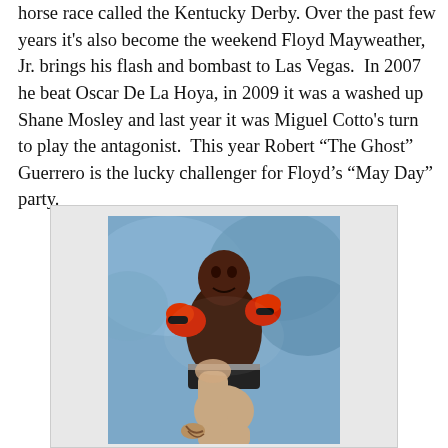horse race called the Kentucky Derby. Over the past few years it's also become the weekend Floyd Mayweather, Jr. brings his flash and bombast to Las Vegas.  In 2007 he beat Oscar De La Hoya, in 2009 it was a washed up Shane Mosley and last year it was Miguel Cotto's turn to play the antagonist.  This year Robert “The Ghost” Guerrero is the lucky challenger for Floyd’s “May Day” party.
[Figure (photo): Boxing match photo showing Floyd Mayweather Jr. receiving a punch from an opponent (seen from behind, bald head, tattooed arm), both fighters in a boxing ring with a crowd in the background. Mayweather wearing red gloves.]